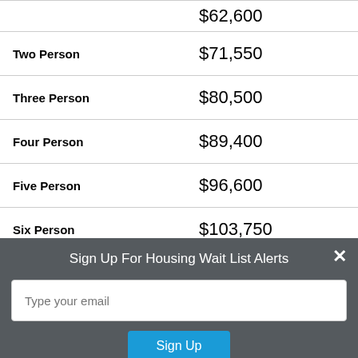| Household Size | Income Limit |
| --- | --- |
| (partial row) | $62,600 |
| Two Person | $71,550 |
| Three Person | $80,500 |
| Four Person | $89,400 |
| Five Person | $96,600 |
| Six Person | $103,750 |
| Seven Person | $110,900 |
Sign Up For Housing Wait List Alerts
Type your email
Sign Up